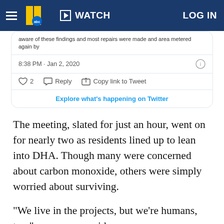WATCH   LOG IN
[Figure (screenshot): Partial tweet showing text 'aware of these findings and most repairs were made and area metered again by...' with timestamp '8:38 PM · Jan 2, 2020', like/reply/copy link actions, and 'Explore what's happening on Twitter' button]
The meeting, slated for just an hour, went on for nearly two as residents lined up to lean into DHA. Though many were concerned about carbon monoxide, others were simply worried about surviving.
"We live in the projects, but we're humans, too," one woman said.